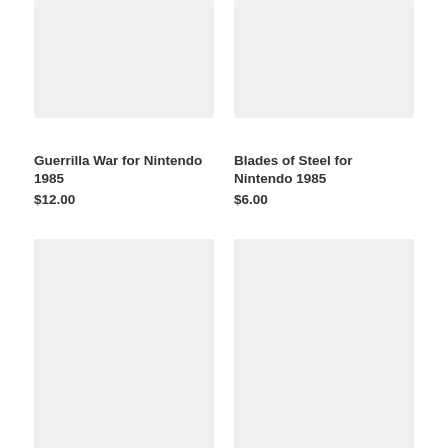[Figure (photo): Product image placeholder for Guerrilla War for Nintendo 1985 - light gray rectangle]
[Figure (photo): Product image placeholder for Blades of Steel for Nintendo 1985 - light gray rectangle]
Guerrilla War for Nintendo 1985
$12.00
Blades of Steel for Nintendo 1985
$6.00
[Figure (photo): Product image placeholder for Skate or Die for Nintendo - light gray rectangle]
[Figure (photo): Product image placeholder for Conflict for Nintendo NES - light gray rectangle]
Skate or Die for Nintendo
Conflict for Nintendo NES